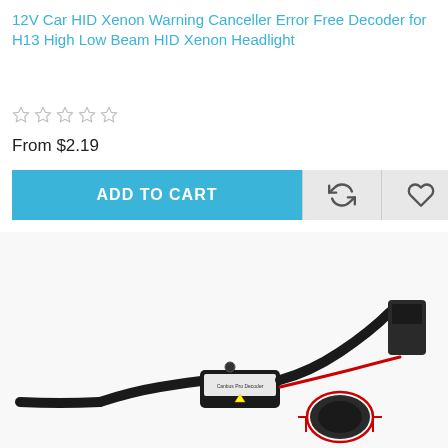12V Car HID Xenon Warning Canceller Error Free Decoder for H13 High Low Beam HID Xenon Headlight
From $2.19
[Figure (other): ADD TO CART button in blue, with two icon buttons (refresh/compare and heart/wishlist) in light grey to the right]
[Figure (photo): Photo of a 12V Car HID Xenon Warning Canceller device with black cables and connectors, with FEELDO watermark repeated across the image]